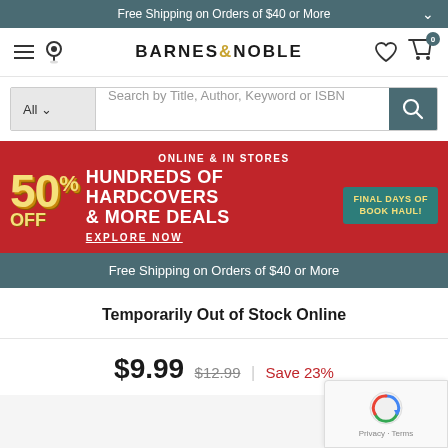Free Shipping on Orders of $40 or More
[Figure (logo): Barnes & Noble logo with hamburger menu and location pin icon on left, heart and cart icons on right]
[Figure (screenshot): Search bar with All category dropdown and 'Search by Title, Author, Keyword or ISBN' placeholder and teal search button]
[Figure (infographic): Promotional banner: Online & In Stores, 50% Off Hundreds of Hardcovers & More Deals, Explore Now, Final Days of Book Haul!]
Free Shipping on Orders of $40 or More
Temporarily Out of Stock Online
$9.99 $12.99 | Save 23%